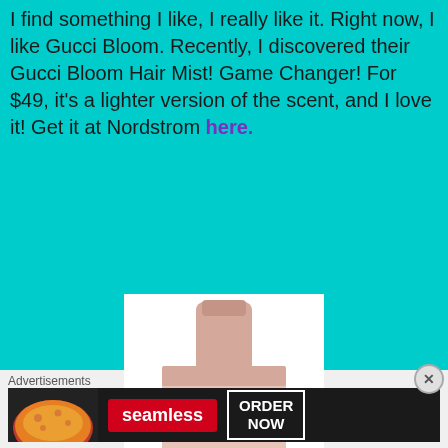I find something I like, I really like it. Right now, I like Gucci Bloom. Recently, I discovered their Gucci Bloom Hair Mist! Game Changer! For $49, it's a lighter version of the scent, and I love it! Get it at Nordstrom here.
[Figure (photo): Gucci Bloom Hair Mist bottle — a tall rectangular peach/rose-gold bottle with cap, labeled GUCCI BLOOM HAIR MIST PARFUM POUR LES CHEVEUX]
Advertisements
[Figure (screenshot): Seamless food delivery advertisement banner showing pizza on left, red Seamless logo in center, and ORDER NOW button on right, on dark background]